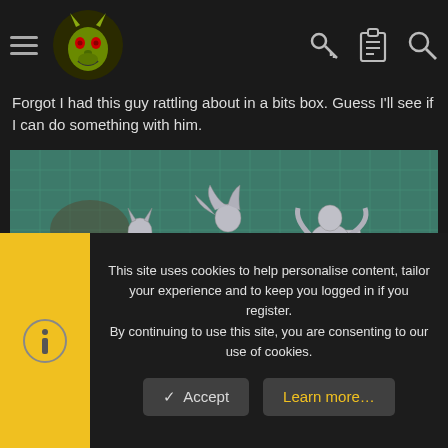Navigation header with hamburger menu, site logo (goblin/orc character), key icon, clipboard icon, and search icon
Forgot I had this guy rattling about in a bits box. Guess I'll see if I can do something with him.
[Figure (photo): Photograph of unpainted grey plastic/metal miniature figurine parts laid out on a green cutting mat. Three partial figure assemblies are visible: left figure with a spiked star weapon, middle figure on a display base, and right figure with flowing cape/cloak pieces.]
This site uses cookies to help personalise content, tailor your experience and to keep you logged in if you register.
By continuing to use this site, you are consenting to our use of cookies.
✓ Accept
Learn more…